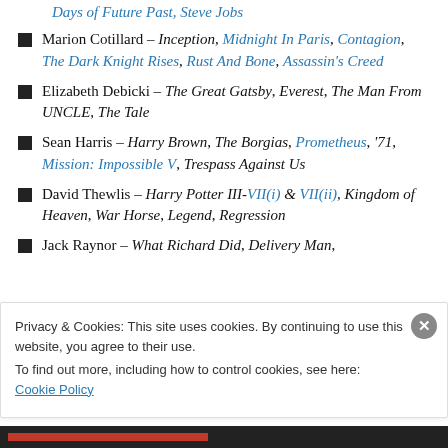Days of Future Past, Steve Jobs
Marion Cotillard – Inception, Midnight In Paris, Contagion, The Dark Knight Rises, Rust And Bone, Assassin's Creed
Elizabeth Debicki – The Great Gatsby, Everest, The Man From UNCLE, The Tale
Sean Harris – Harry Brown, The Borgias, Prometheus, '71, Mission: Impossible V, Trespass Against Us
David Thewlis – Harry Potter III-VII(i) & VII(ii), Kingdom of Heaven, War Horse, Legend, Regression
Jack Raynor – What Richard Did, Delivery Man,
Privacy & Cookies: This site uses cookies. By continuing to use this website, you agree to their use. To find out more, including how to control cookies, see here: Cookie Policy
Close and accept